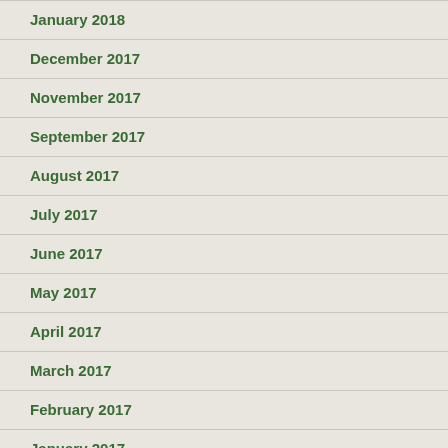January 2018
December 2017
November 2017
September 2017
August 2017
July 2017
June 2017
May 2017
April 2017
March 2017
February 2017
January 2017
December 2016
November 2016